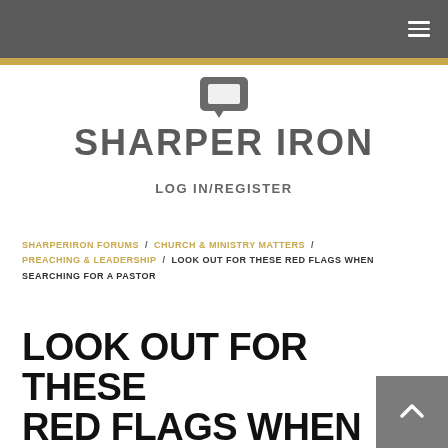SHARPER IRON
LOG IN/REGISTER
SHARPERIRON FORUMS / CHURCH & MINISTRY MATTERS / PREACHING & LEADERSHIP / LOOK OUT FOR THESE RED FLAGS WHEN SEARCHING FOR A PASTOR
LOOK OUT FOR THESE RED FLAGS WHEN